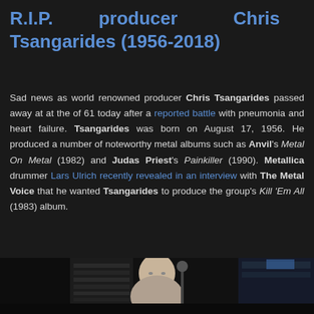R.I.P. producer Chris Tsangarides (1956-2018)
Sad news as world renowned producer Chris Tsangarides passed away at at the of 61 today after a reported battle with pneumonia and heart failure. Tsangarides was born on August 17, 1956. He produced a number of noteworthy metal albums such as Anvil's Metal On Metal (1982) and Judas Priest's Painkiller (1990). Metallica drummer Lars Ulrich recently revealed in an interview with The Metal Voice that he wanted Tsangarides to produce the group's Kill 'Em All (1983) album.
[Figure (photo): Partial photo of Chris Tsangarides in a recording studio environment, showing a bald man from shoulders up, with studio equipment visible in the background.]